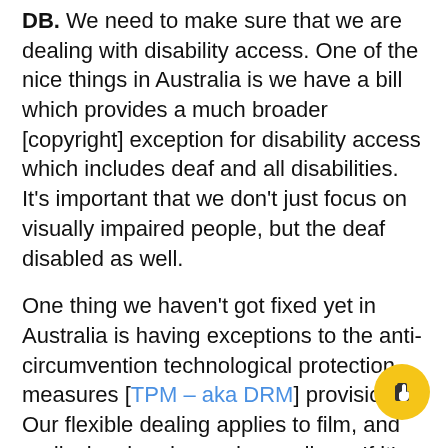DB. We need to make sure that we are dealing with disability access. One of the nice things in Australia is we have a bill which provides a much broader [copyright] exception for disability access which includes deaf and all disabilities. It's important that we don't just focus on visually impaired people, but the deaf disabled as well.
One thing we haven't got fixed yet in Australia is having exceptions to the anti-circumvention technological protection measures [TPM – aka DRM] provision. Our flexible dealing applies to film, and audiovisual and sound recordings. If it's a DVD we can't actually take an extract from a DVD under our exceptions, because we're going to break a TPM. So you need an exception for circumventing TPMs in order for you to take advantage of the exceptions that have been granted to